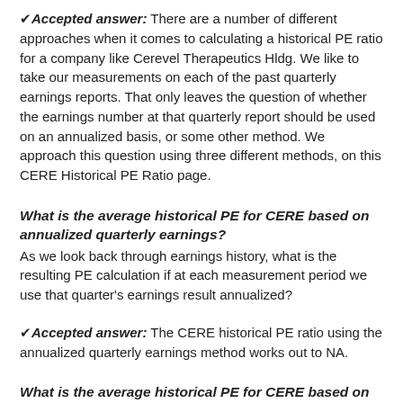✔ Accepted answer: There are a number of different approaches when it comes to calculating a historical PE ratio for a company like Cerevel Therapeutics Hldg. We like to take our measurements on each of the past quarterly earnings reports. That only leaves the question of whether the earnings number at that quarterly report should be used on an annualized basis, or some other method. We approach this question using three different methods, on this CERE Historical PE Ratio page.
What is the average historical PE for CERE based on annualized quarterly earnings?
As we look back through earnings history, what is the resulting PE calculation if at each measurement period we use that quarter's earnings result annualized?
✔ Accepted answer: The CERE historical PE ratio using the annualized quarterly earnings method works out to NA.
What is the average historical PE for CERE based on